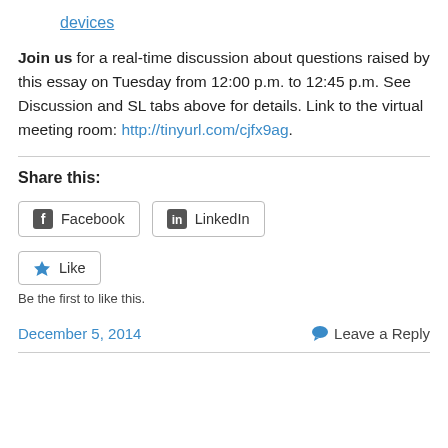devices
Join us for a real-time discussion about questions raised by this essay on Tuesday from 12:00 p.m. to 12:45 p.m. See Discussion and SL tabs above for details. Link to the virtual meeting room: http://tinyurl.com/cjfx9ag.
Share this:
[Figure (other): Facebook and LinkedIn share buttons]
[Figure (other): Like button with star icon]
Be the first to like this.
December 5, 2014
Leave a Reply